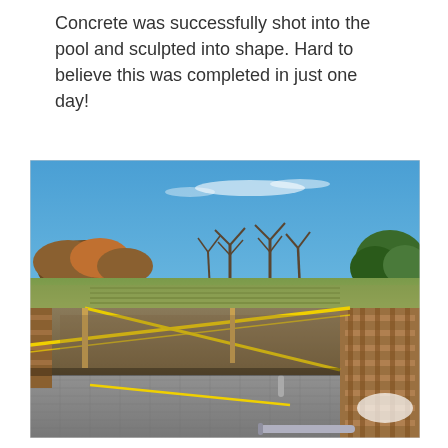Concrete was successfully shot into the pool and sculpted into shape. Hard to believe this was completed in just one day!
[Figure (photo): Outdoor construction site showing a pool excavation in progress. The pool shell is lined with concrete and rebar/wire mesh. Yellow caution tape is stretched across the site. Wooden formwork is visible on the right side. The background shows open fields, bare autumn trees, and a bright blue sky with wispy clouds.]